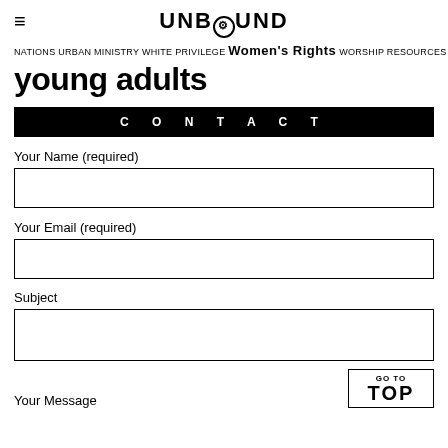≡ UNBOUND
Nations Urban Ministry white privilege Women's Rights worship resources
young adults
CONTACT
Your Name (required)
Your Email (required)
Subject
Your Message
GO TO TOP